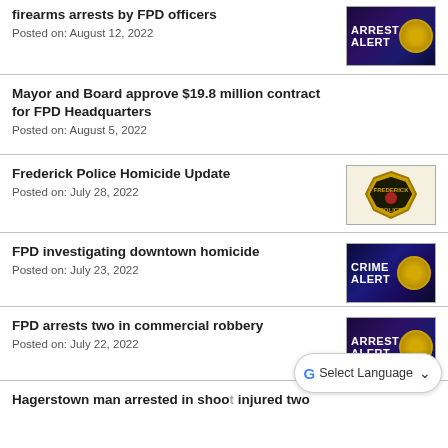firearms arrests by FPD officers
Posted on: August 12, 2022
Mayor and Board approve $19.8 million contract for FPD Headquarters
Posted on: August 5, 2022
Frederick Police Homicide Update
Posted on: July 28, 2022
FPD investigating downtown homicide
Posted on: July 23, 2022
FPD arrests two in commercial robbery
Posted on: July 22, 2022
Hagerstown man arrested in shoo... injured two